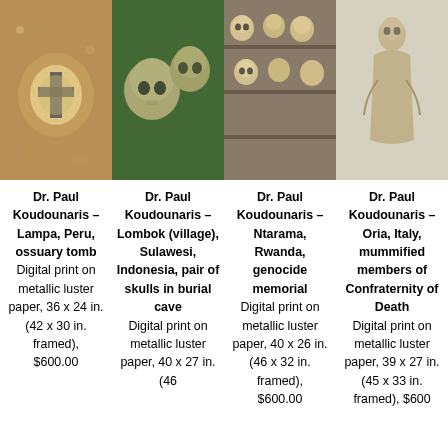[Figure (photo): Four photographs arranged horizontally: ossuary cross made of bones, two skulls outdoors, stacked skulls on shelves, robed mummified figure statue]
Dr. Paul Koudounaris – Lampa, Peru, ossuary tomb Digital print on metallic luster paper, 36 x 24 in. (42 x 30 in. framed), $600.00
Dr. Paul Koudounaris – Lombok (village), Sulawesi, Indonesia, pair of skulls in burial cave Digital print on metallic luster paper, 40 x 27 in. (46
Dr. Paul Koudounaris – Ntarama, Rwanda, genocide memorial Digital print on metallic luster paper, 40 x 26 in. (46 x 32 in. framed), $600.00
Dr. Paul Koudounaris – Oria, Italy, mummified members of Confraternity of Death Digital print on metallic luster paper, 39 x 27 in. (45 x 33 in. framed), $600